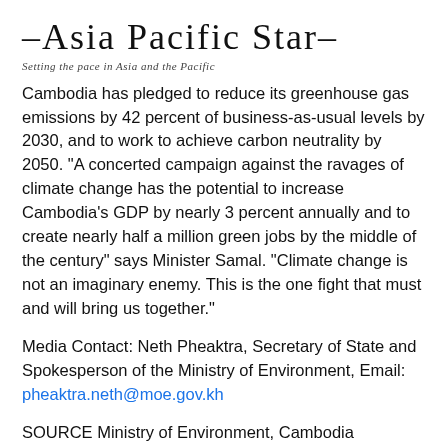–Asia Pacific Star–
Setting the pace in Asia and the Pacific
Cambodia has pledged to reduce its greenhouse gas emissions by 42 percent of business-as-usual levels by 2030, and to work to achieve carbon neutrality by 2050. "A concerted campaign against the ravages of climate change has the potential to increase Cambodia's GDP by nearly 3 percent annually and to create nearly half a million green jobs by the middle of the century" says Minister Samal. "Climate change is not an imaginary enemy. This is the one fight that must and will bring us together."
Media Contact: Neth Pheaktra, Secretary of State and Spokesperson of the Ministry of Environment, Email: pheaktra.neth@moe.gov.kh
SOURCE Ministry of Environment, Cambodia